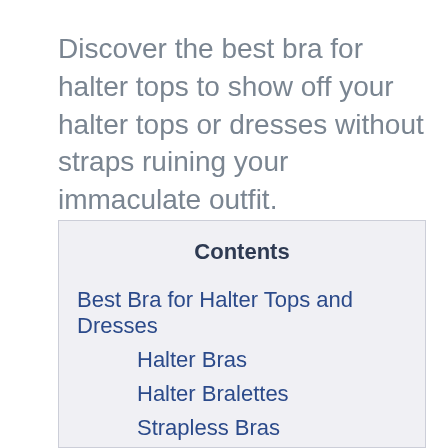Discover the best bra for halter tops to show off your halter tops or dresses without straps ruining your immaculate outfit.
| Contents |
| --- |
| Best Bra for Halter Tops and Dresses |
| Halter Bras |
| Halter Bralettes |
| Strapless Bras |
| Fashion Tape |